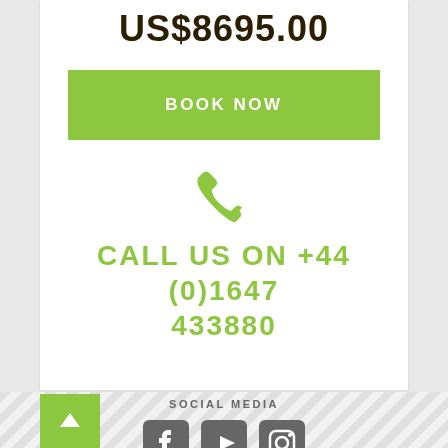US$8695.00
BOOK NOW
[Figure (illustration): Green phone/telephone handset icon]
CALL US ON +44 (0)1647 433880
SOCIAL MEDIA
[Figure (illustration): Facebook, YouTube, and Instagram social media icons in grey]
[Figure (illustration): Green back-to-top arrow button]